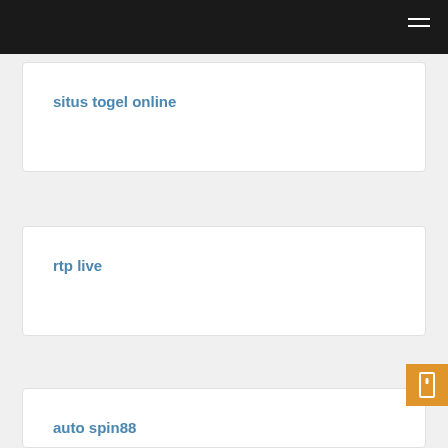situs togel online
rtp live
auto spin88